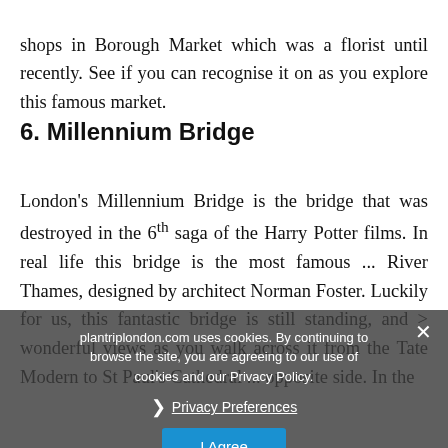shops in Borough Market which was a florist until recently. See if you can recognise it on as you explore this famous market.
6. Millennium Bridge
London's Millennium Bridge is the bridge that was destroyed in the 6th saga of the Harry Potter films. In real life this bridge is the most famous ... River Thames, designed by architect Norman Foster. Luckily for us, this fantastic bridge is still standing, and ... wonderful views as you walk across it from the Tate Modern to St Paul's Cathedral ... opposite side. In the
plantriplondon.com uses cookies. By continuing to browse the site, you are agreeing to our use of cookies and our Privacy Policy.
× Privacy Preferences
I Agree